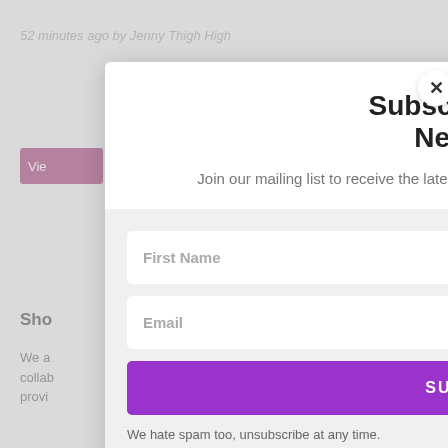52 minutes ago by Jenny Thigh High
Subscribe To Our Newsletter
Join our mailing list to receive the latest news and updates from Crossdresser Heaven.
First Name
Email
SUBSCRIBE!
We hate spam too, unsubscribe at any time.